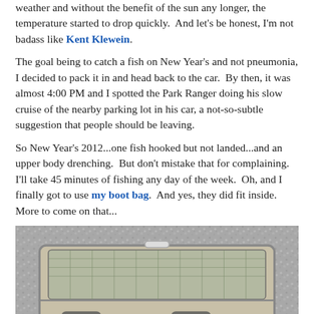weather and without the benefit of the sun any longer, the temperature started to drop quickly.  And let's be honest, I'm not badass like Kent Klewein.
The goal being to catch a fish on New Year's and not pneumonia, I decided to pack it in and head back to the car.  By then, it was almost 4:00 PM and I spotted the Park Ranger doing his slow cruise of the nearby parking lot in his car, a not-so-subtle suggestion that people should be leaving.
So New Year's 2012...one fish hooked but not landed...and an upper body drenching.  But don't mistake that for complaining.  I'll take 45 minutes of fishing any day of the week.  Oh, and I finally got to use my boot bag.  And yes, they did fit inside.  More to come on that...
[Figure (photo): A boot bag open on a concrete/gravel surface, showing wading boots packed inside with mesh panels visible.]